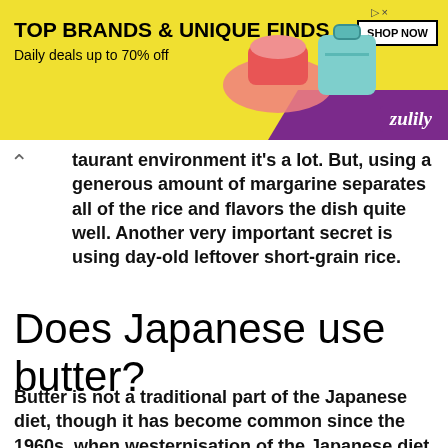[Figure (other): Advertisement banner for Zulily: yellow background with shoes and handbag, text 'TOP BRANDS & UNIQUE FINDS, Daily deals up to 70% off', SHOP NOW button, Zulily logo in purple]
...taurant environment it's a lot. But, using a generous amount of margarine separates all of the rice and flavors the dish quite well. Another very important secret is using day-old leftover short-grain rice.
Does Japanese use butter?
Butter is not a traditional part of the Japanese diet, though it has become common since the 1960s, when westernisation of the Japanese diet